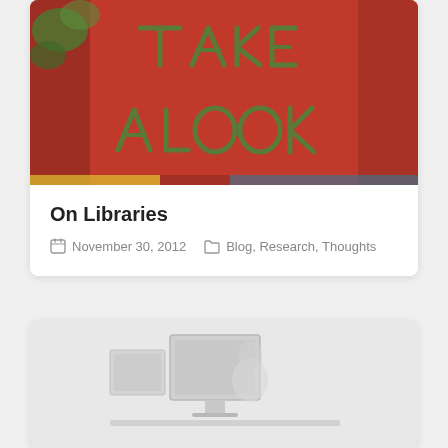[Figure (photo): Red sign with letters made of sticks/twigs spelling 'TAKE A LOOK', with foliage visible]
On Libraries
November 30, 2012   Blog, Research, Thoughts
[Figure (photo): Faded/light photo showing a person at a computer workstation]